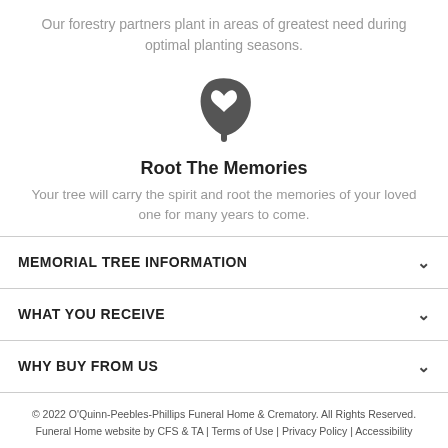Our forestry partners plant in areas of greatest need during optimal planting seasons.
[Figure (illustration): Dark gray leaf/heart icon — a stylized leaf shape with a heart cutout in the center]
Root The Memories
Your tree will carry the spirit and root the memories of your loved one for many years to come.
MEMORIAL TREE INFORMATION
WHAT YOU RECEIVE
WHY BUY FROM US
© 2022 O'Quinn-Peebles-Phillips Funeral Home & Crematory. All Rights Reserved. Funeral Home website by CFS & TA | Terms of Use | Privacy Policy | Accessibility